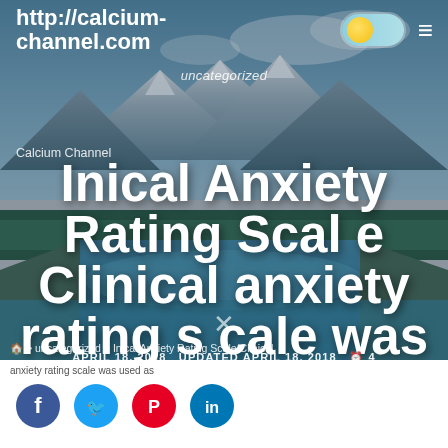http://calcium-channel.com
uncategorized
Calcium Channel
Inical Anxiety Rating Scale Clinical anxiety rating scale was used as
APRIL 18, 2018   UPDATED APRIL 18, 2018   4 MIN READ
January 2014
> uncategorized > Inical Anxiety Rating Scale Clinical
anxiety rating scale was used as